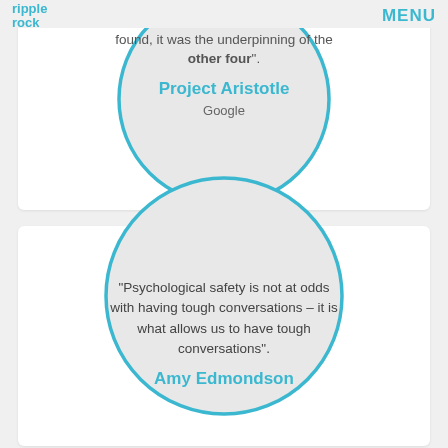ripple rock | MENU
important of the five dynamics we found, it was the underpinning of the other four".
Project Aristotle
Google
“Psychological safety is not at odds with having tough conversations – it is what allows us to have tough conversations”.
Amy Edmondson